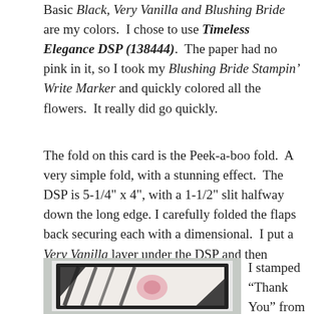Basic Black, Very Vanilla and Blushing Bride are my colors.  I chose to use Timeless Elegance DSP (138444).  The paper had no pink in it, so I took my Blushing Bride Stampin' Write Marker and quickly colored all the flowers.  It really did go quickly.
The fold on this card is the Peek-a-boo fold.  A very simple fold, with a stunning effect.  The DSP is 5-1/4" x 4", with a 1-1/2" slit halfway down the long edge. I carefully folded the flaps back securing each with a dimensional.  I put a Very Vanilla layer under the DSP and then secured the DSP with snail adhesive.
[Figure (photo): Photo of a handmade card with a Peek-a-boo fold, showing black and white floral DSP with pink flowers, framed in black.]
I stamped “Thank You” from the "Happy Happenings"